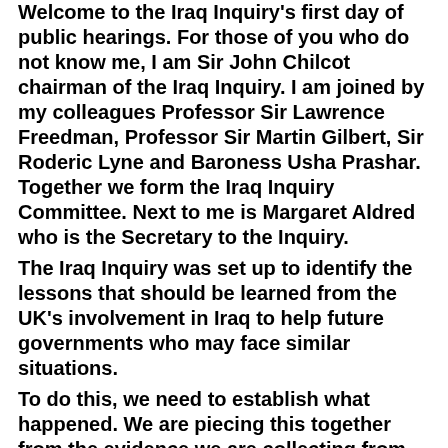Welcome to the Iraq Inquiry's first day of public hearings. For those of you who do not know me, I am Sir John Chilcot chairman of the Iraq Inquiry. I am joined by my colleagues Professor Sir Lawrence Freedman, Professor Sir Martin Gilbert, Sir Roderic Lyne and Baroness Usha Prashar. Together we form the Iraq Inquiry Committee. Next to me is Margaret Aldred who is the Secretary to the Inquiry. The Iraq Inquiry was set up to identify the lessons that should be learned from the UK's involvement in Iraq to help future governments who may face similar situations. To do this, we need to establish what happened. We are piecing this together from the evidence we are collecting from documents or from those who have first hand experience. We will then need to evaluate what went well and what didn't -- and, crucially, why. My colleagues and I come to this task with open minds. We are apolitical and independent of any political party. We want to examine the evidence. We will approach our task in a way that is thorough, rigorous, fair and frank. The Committee and I are also committed to openness and to the value of examinations of former government conduct.